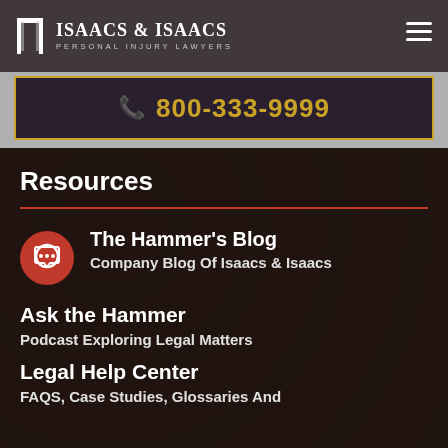[Figure (logo): Isaacs & Isaacs Personal Injury Lawyers logo with columns icon, white text on dark background]
📞 800-333-9999
Resources
The Hammer's Blog — Company Blog Of Isaacs & Isaacs
Ask the Hammer — Podcast Exploring Legal Matters
Legal Help Center — FAQS, Case Studies, Glossaries And